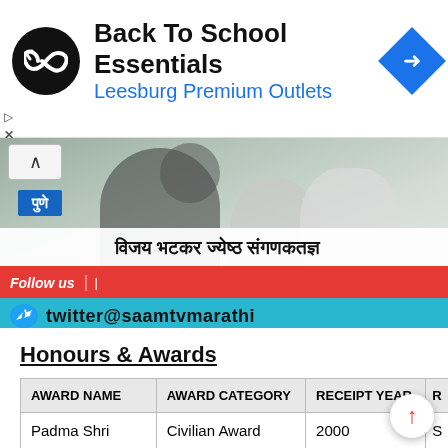[Figure (screenshot): Advertisement banner for Back To School Essentials at Leesburg Premium Outlets, with circular black logo and blue navigation diamond icon]
[Figure (screenshot): TV news screenshot from Saam TV Marathi showing a person with microphone, Pune location badge, Marathi text for Vijay Bhatkar senior computer scientist, Follow us bar, and twitter@saamtvmarathi handle]
Honours & Awards
| AWARD NAME | AWARD CATEGORY | RECEIPT YEAR | R |
| --- | --- | --- | --- |
| Padma Shri | Civilian Award | 2000 | S |
| Padma Bhushan | Civilian Award | 2015 | S |